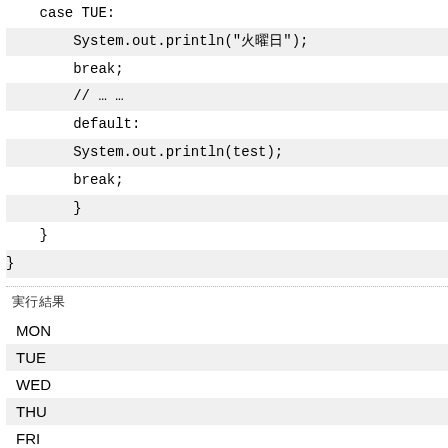case TUE:
    System.out.println("火曜日");
    break;
    // … …
    default:
    System.out.println(test);
    break;
    }
}
実行結果
MON
TUE
WED
THU
FRI
SAT
SUN